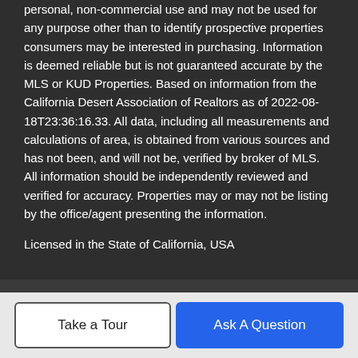personal, non-commercial use and may not be used for any purpose other than to identify prospective properties consumers may be interested in purchasing. Information is deemed reliable but is not guaranteed accurate by the MLS or KUD Properties. Based on information from the California Desert Association of Realtors as of 2022-08-18T23:36:16.33. All data, including all measurements and calculations of area, is obtained from various sources and has not been, and will not be, verified by broker of MLS. All information should be independently reviewed and verified for accuracy. Properties may or may not be listing by the office/agent presenting the information.
Licensed in the State of California, USA
BoomTown! © 2022 | Terms of Use | Privacy Policy | Accessibility | DMCA | Listings Sitemap
Take a Tour
Ask A Question